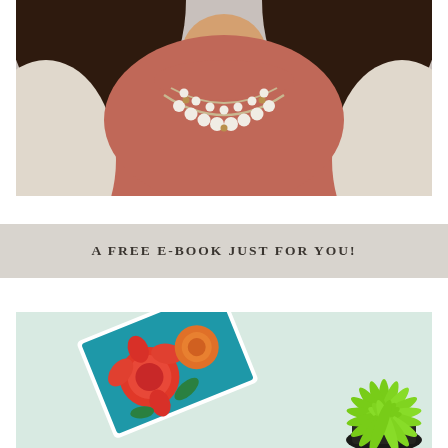[Figure (photo): Close-up photo of a woman from neck to waist wearing a dusty rose pink shirt, white/cream layered beaded necklace with gold accents, and a light beige cardigan. Background is grey. Hair is dark brown, visible on sides.]
A FREE E-BOOK JUST FOR YOU!
[Figure (photo): Photo of a light mint/green surface with a tablet or book featuring a floral cover with orange and red roses on a teal background, placed at an angle on the left. On the right side is a bright green spiky succulent plant in a dark pot.]